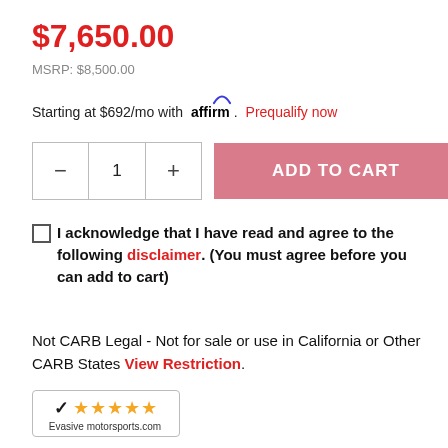$7,650.00
MSRP: $8,500.00
Starting at $692/mo with affirm. Prequalify now
1
ADD TO CART
I acknowledge that I have read and agree to the following disclaimer. (You must agree before you can add to cart)
Not CARB Legal - Not for sale or use in California or Other CARB States View Restriction.
[Figure (logo): Evasive Motorsports 5-star trust badge with checkmark logo and gold stars]